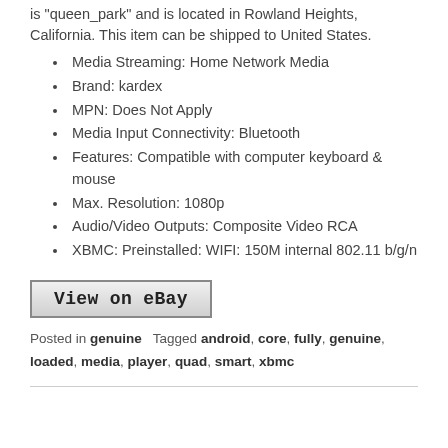is "queen_park" and is located in Rowland Heights, California. This item can be shipped to United States.
Media Streaming: Home Network Media
Brand: kardex
MPN: Does Not Apply
Media Input Connectivity: Bluetooth
Features: Compatible with computer keyboard & mouse
Max. Resolution: 1080p
Audio/Video Outputs: Composite Video RCA
XBMC: Preinstalled: WIFI: 150M internal 802.11 b/g/n
[Figure (other): View on eBay button]
Posted in genuine   Tagged android, core, fully, genuine, loaded, media, player, quad, smart, xbmc